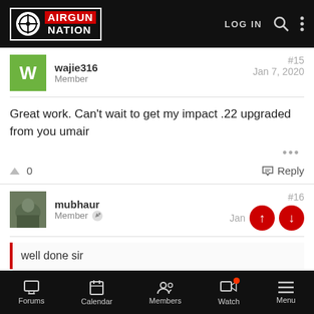AIRGUN NATION — LOG IN
wajie316 Member #15 Jan 7, 2020
Great work. Can't wait to get my impact .22 upgraded from you umair
0  Reply
mubhaur Member #16 Jan
well done sir
Forums  Calendar  Members  Watch  Menu